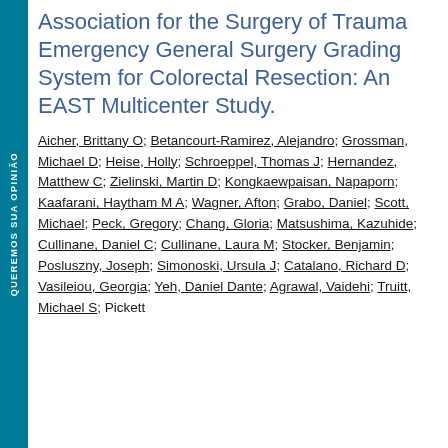Association for the Surgery of Trauma Emergency General Surgery Grading System for Colorectal Resection: An EAST Multicenter Study.
Aicher, Brittany O; Betancourt-Ramirez, Alejandro; Grossman, Michael D; Heise, Holly; Schroeppel, Thomas J; Hernandez, Matthew C; Zielinski, Martin D; Kongkaewpaisan, Napaporn; Kaafarani, Haytham M A; Wagner, Afton; Grabo, Daniel; Scott, Michael; Peck, Gregory; Chang, Gloria; Matsushima, Kazuhide; Cullinane, Daniel C; Cullinane, Laura M; Stocker, Benjamin; Posluszny, Joseph; Simonoski, Ursula J; Catalano, Richard D; Vasileiou, Georgia; Yeh, Daniel Dante; Agrawal, Vaidehi; Truitt, Michael S; Pickett